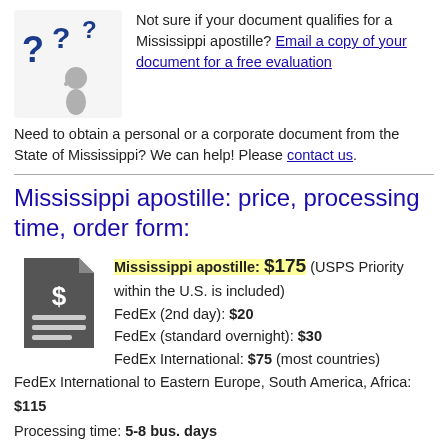[Figure (illustration): A grey figure person with blue question marks around their head, representing uncertainty or a question]
Not sure if your document qualifies for a Mississippi apostille? Email a copy of your document for a free evaluation
Need to obtain a personal or a corporate document from the State of Mississippi? We can help! Please contact us.
Mississippi apostille: price, processing time, order form:
[Figure (illustration): Dark grey document icon with a dollar sign]
Mississippi apostille: $175 (USPS Priority within the U.S. is included)
FedEx (2nd day): $20
FedEx (standard overnight): $30
FedEx International: $75 (most countries)
FedEx International to Eastern Europe, South America, Africa: $115
Processing time: 5-8 bus. days
[Figure (illustration): Document with pencil icon representing an order form]
Apostille Order Form (PDF file)
Complete the Order form and enclose it with your document(s). Our mailing address is